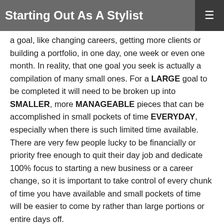Starting Out As A Stylist
a goal, like changing careers, getting more clients or building a portfolio, in one day, one week or even one month. In reality, that one goal you seek is actually a compilation of many small ones. For a LARGE goal to be completed it will need to be broken up into SMALLER, more MANAGEABLE pieces that can be accomplished in small pockets of time EVERYDAY, especially when there is such limited time available. There are very few people lucky to be financially or priority free enough to quit their day job and dedicate 100% focus to starting a new business or a career change, so it is important to take control of every chunk of time you have available and small pockets of time will be easier to come by rather than large portions or entire days off.
If you're waiting for a day off to start, you could be waiting for a while, in the meantime losing valuable progress as your